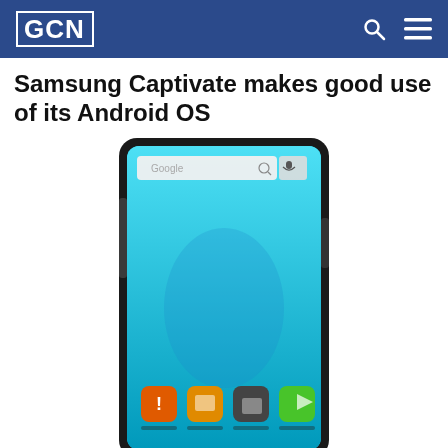GCN
Samsung Captivate makes good use of its Android OS
[Figure (photo): Samsung Captivate Android smartphone showing home screen with app icons and Google search bar on a bright blue background.]
By CARLOS A. SOTO // SEPTEMBER 1, 2010
For most agencies, the Captivate would be a perfect mobile device because it walks a careful balance between the easy-to-manage